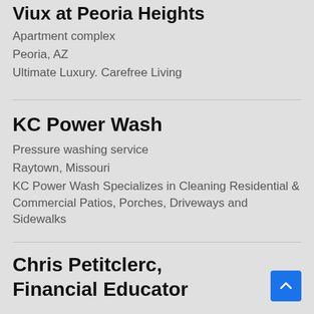Viux at Peoria Heights
Apartment complex
Peoria, AZ
Ultimate Luxury. Carefree Living
KC Power Wash
Pressure washing service
Raytown, Missouri
KC Power Wash Specializes in Cleaning Residential & Commercial Patios, Porches, Driveways and Sidewalks
Chris Petitclerc, Financial Educator